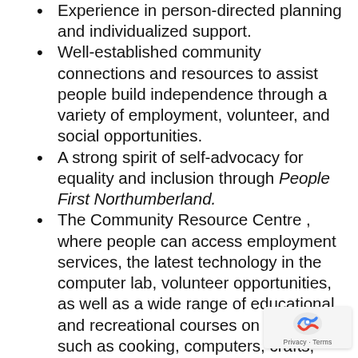Experience in person-directed planning and individualized support.
Well-established community connections and resources to assist people build independence through a variety of employment, volunteer, and social opportunities.
A strong spirit of self-advocacy for equality and inclusion through People First Northumberland.
The Community Resource Centre , where people can access employment services, the latest technology in the computer lab, volunteer opportunities, as well as a wide range of educational and recreational courses on topics such as cooking, computers, crafts, exercise, dance, automotive basics, and gardening